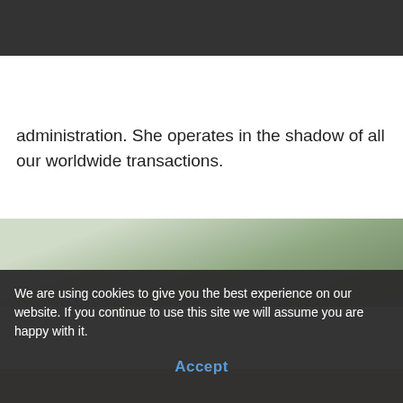[Figure (logo): Gova Distribution logo - hexagonal blue shape with text 'Gova Distribution' and tagline below]
[Figure (other): Hamburger menu icon (three horizontal lines) in top right corner of dark navigation bar]
administration. She operates in the shadow of all our worldwide transactions.
+31/164.72.80.12
[Figure (photo): Partially visible photo of a person outdoors with blurred green foliage background]
We are using cookies to give you the best experience on our website. If you continue to use this site we will assume you are happy with it.
Accept
[Figure (photo): Partially visible photo at bottom of page]